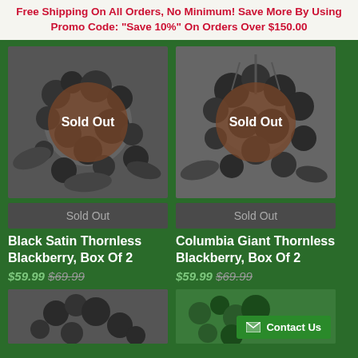Free Shipping On All Orders, No Minimum! Save More By Using Promo Code: "Save 10%" On Orders Over $150.00
[Figure (photo): Black and white photo of blackberries on vine with brown circular Sold Out overlay badge]
[Figure (photo): Black and white photo of blackberries on vine with brown circular Sold Out overlay badge]
Sold Out
Sold Out
Black Satin Thornless Blackberry, Box Of 2
Columbia Giant Thornless Blackberry, Box Of 2
$59.99 $69.99
$59.99 $69.99
[Figure (photo): Black and white photo of blackberries on vine, partially visible at bottom]
[Figure (photo): Color photo of blackberries with Contact Us button overlay]